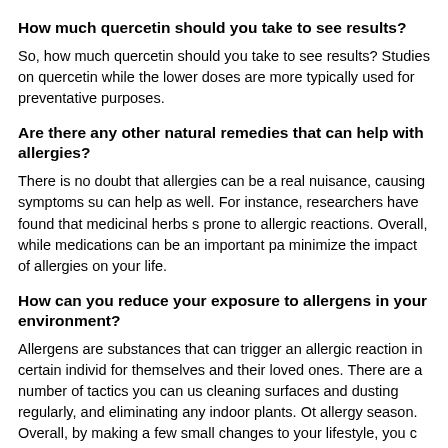How much quercetin should you take to see results?
So, how much quercetin should you take to see results? Studies on quercetin while the lower doses are more typically used for preventative purposes.
Are there any other natural remedies that can help with allergies?
There is no doubt that allergies can be a real nuisance, causing symptoms su can help as well. For instance, researchers have found that medicinal herbs s prone to allergic reactions. Overall, while medications can be an important pa minimize the impact of allergies on your life.
How can you reduce your exposure to allergens in your environment?
Allergens are substances that can trigger an allergic reaction in certain individ for themselves and their loved ones. There are a number of tactics you can us cleaning surfaces and dusting regularly, and eliminating any indoor plants. Ot allergy season. Overall, by making a few small changes to your lifestyle, you c
Can allergy medication be safely taken while taking quercetin suppleme
Many people experience the unpleasant symptoms of allergies, such as a run for some people, allergy medication does not provide adequate relief. In this c So is it safe to take allergy medication while taking quercetin supplements? Th